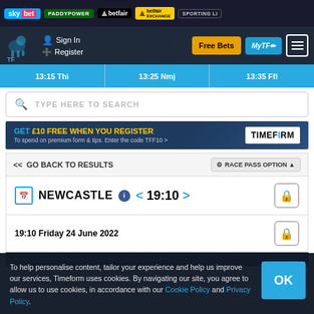sky bet | PADDYPOWER | betfair | betfair EXCHANGE | SPORTING LI...
[Figure (screenshot): Navigation bar with horse racing logo, Sign In, Register, Free Bets, MyTF, and menu buttons]
13:15 Thi | 13:25 Nmj | 13:35 Ffl
TYPE HERE TO SEARCH
GET £10 FREE WHEN YOU REGISTER - To spend on premium form & tips. Enter the code TFF10 >
<< GO BACK TO RESULTS | RACE PASS OPTION ▲
NEWCASTLE < 19:10 >
19:10 Friday 24 June 2022
JENNINGSBET HOPPINGS FILLIES' STAKES (Group 3) [6]
To help personalise content, tailor your experience and help us improve our services, Timeform uses cookies. By navigating our site, you agree to allow us to use cookies, in accordance with our Cookie Policy and Privacy Policy.